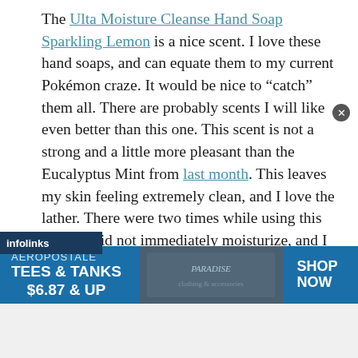The Ulta Moisture Cleanse Hand Soap Sparkling Lemon is a nice scent. I love these hand soaps, and can equate them to my current Pokémon craze. It would be nice to “catch” them all. There are probably scents I will like even better than this one. This scent is not a strong and a little more pleasant than the Eucalyptus Mint from last month. This leaves my skin feeling extremely clean, and I love the lather. There were two times while using this where I did not immediately moisturize, and I could tolerate it. Most washes make me want to climb the wall when I cannot moisturize upon drying. My hands are extremely dry, but I still prefer formulas that cleanse more than moisturize. I can always moisturize separately, but I like my hands really clean. This gives me a great cleanse and moisture, so
[Figure (other): Aéropostale advertisement banner: TEES & TANKS $6.87 & UP with SHOP NOW button and a photo of clothing/paradise themed image. Infolinks label in dark blue bar above.]